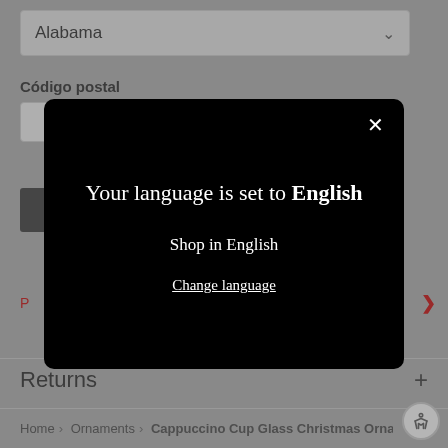Alabama
Código postal
[Figure (screenshot): Modal dialog on dark background with language selection]
Your language is set to English
Shop in English
Change language
Returns
Home › Ornaments › Cappuccino Cup Glass Christmas Ornam